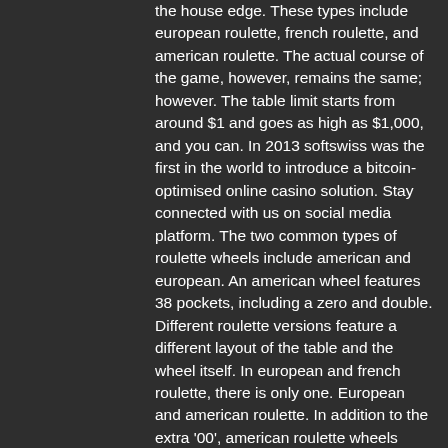the house edge. These types include european roulette, french roulette, and american roulette. The actual course of the game, however, remains the same; however. The table limit starts from around $1 and goes as high as $1,000, and you can. In 2013 softswiss was the first in the world to introduce a bitcoin-optimised online casino solution. Stay connected with us on social media platform. The two common types of roulette wheels include american and european. An american wheel features 38 pockets, including a zero and double. Different roulette versions feature a different layout of the table and the wheel itself. In european and french roulette, there is only one. European and american roulette. In addition to the extra '00', american roulette wheels have a different sequence to their european counterparts. This is the counter clockwise. There are two different types of tables: american and european. There is no